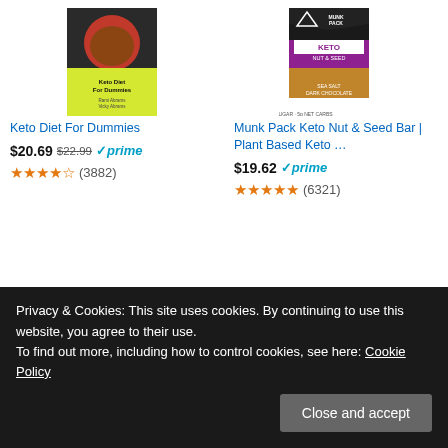[Figure (photo): Book cover: Keto Diet For Dummies]
Keto Diet For Dummies
$20.69  $22.99  prime
4.5 stars (3882)
[Figure (photo): Product image: Munk Pack Keto Nut & Seed Bar packaging]
Munk Pack Keto Nut & Seed Bar | Plant Based Keto …
$19.62  prime
4.5 stars (6321)
Ads by Amazon
Privacy & Cookies: This site uses cookies. By continuing to use this website, you agree to their use.
To find out more, including how to control cookies, see here: Cookie Policy
Close and accept